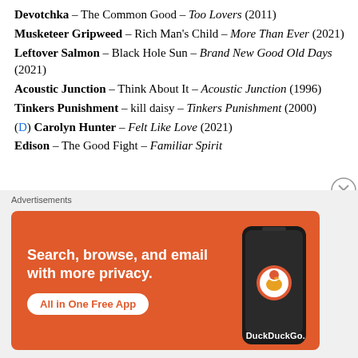Devotchka – The Common Good – Too Lovers (2011)
Musketeer Gripweed – Rich Man's Child – More Than Ever (2021)
Leftover Salmon – Black Hole Sun – Brand New Good Old Days (2021)
Acoustic Junction – Think About It – Acoustic Junction (1996)
Tinkers Punishment – kill daisy – Tinkers Punishment (2000)
(D) Carolyn Hunter – Felt Like Love (2021)
Edison – The Good Fight – Familiar Spirit
[Figure (infographic): DuckDuckGo advertisement banner with orange background. Text: 'Search, browse, and email with more privacy. All in One Free App'. Shows a smartphone graphic and DuckDuckGo logo/branding.]